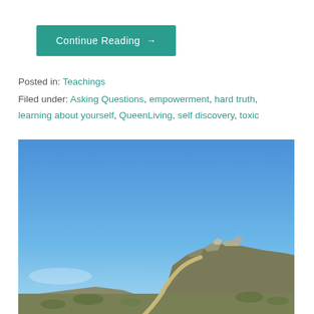Continue Reading →
Posted in: Teachings
Filed under: Asking Questions, empowerment, hard truth, learning about yourself, QueenLiving, self discovery, toxic
[Figure (photo): Outdoor landscape photo showing a rocky hillside with a dirt trail winding up it under a clear blue sky.]